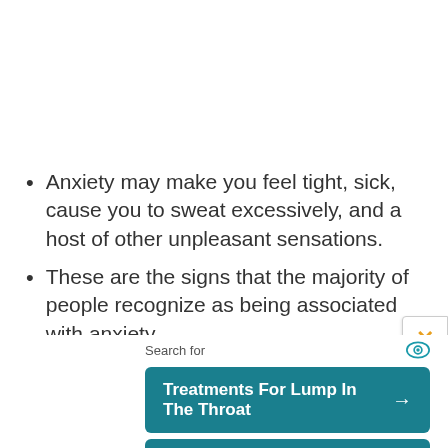Anxiety may make you feel tight, sick, cause you to sweat excessively, and a host of other unpleasant sensations.
These are the signs that the majority of people recognize as being associated with anxiety.
[Figure (screenshot): Yahoo Search sponsored ad unit with two teal buttons: 'Treatments For Lump In The Throat' and 'Causes Of Lump In The Throat', with a close X button and Yahoo Search | Sponsored footer.]